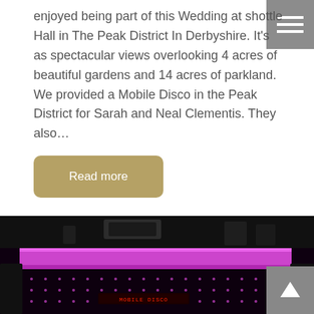enjoyed being part of this Wedding at shottle Hall in The Peak District In Derbyshire. It's as spectacular views overlooking 4 acres of beautiful gardens and 14 acres of parkland. We provided a Mobile Disco in the Peak District for Sarah and Neal Clementis. They also…
Read more
[Figure (photo): Photo of a mobile disco DJ setup with purple LED lighting bar, dot-matrix LED backdrop, speakers on either side, and red LED display text panel, taken in a dark venue]